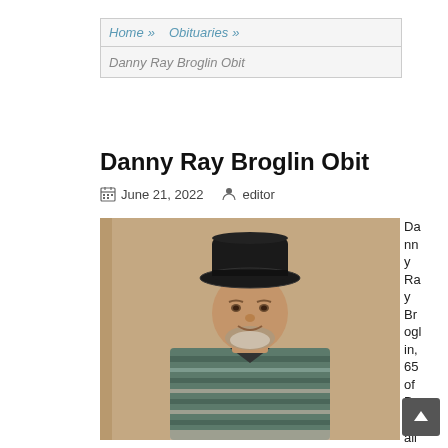Home » Obituaries » Danny Ray Broglin Obit
Danny Ray Broglin Obit
June 21, 2022   editor
[Figure (photo): Photo of Danny Ray Broglin, an elderly man wearing a black cowboy hat and a striped polo shirt, smiling at the camera.]
Danny Ray Broglin, 65 of Bonif...